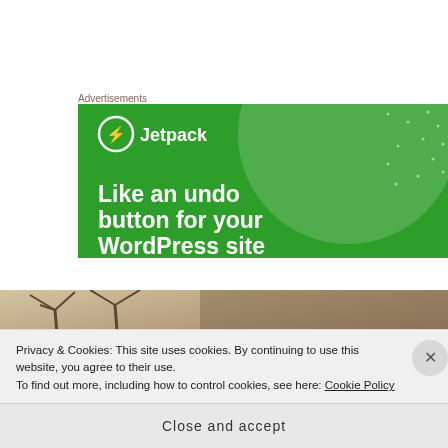Advertisements
[Figure (screenshot): Jetpack advertisement banner with green background, circular logo with lightning bolt, text reading 'Like an undo button for your WordPress site']
[Figure (photo): Beach photo with palm tree silhouettes and sandy/warm-toned background]
Privacy & Cookies: This site uses cookies. By continuing to use this website, you agree to their use.
To find out more, including how to control cookies, see here: Cookie Policy
Close and accept